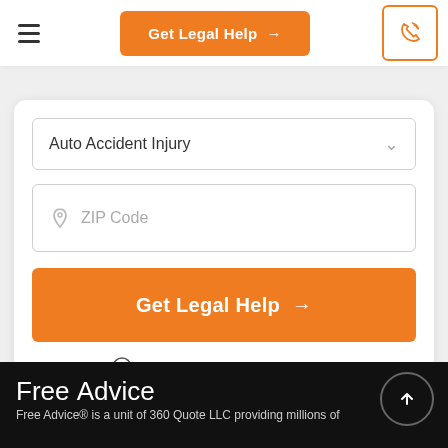≡   Get Legal Help →   [phone icon]
Auto Accident Injury
ZIP Code
Get Legal Help →
Secured with SHA-256 Encryption
Free Advice
Free Advice® is a unit of 360 Quote LLC providing millions of